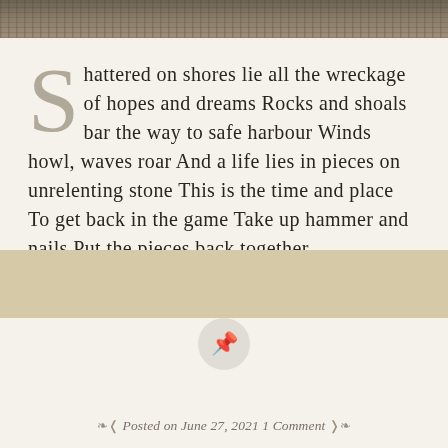[Figure (photo): Decorative photo strip at top of page showing rocky shoreline or stone texture in muted brown tones]
Shattered on shores lie all the wreckage of hopes and dreams Rocks and shoals bar the way to safe harbour Winds howl, waves roar And a life lies in pieces on unrelenting stone This is the time and place To get back in the game Take up hammer and nails Put the pieces back together...
Posted on June 27, 2021 1 Comment